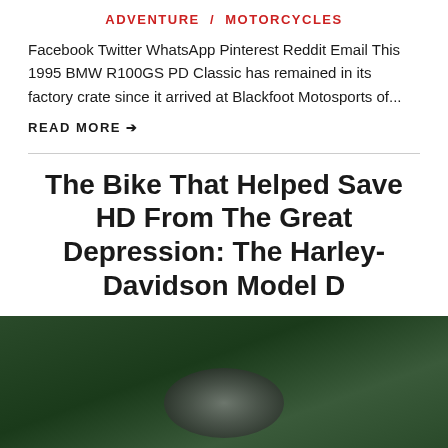ADVENTURE / MOTORCYCLES
Facebook Twitter WhatsApp Pinterest Reddit Email This 1995 BMW R100GS PD Classic has remained in its factory crate since it arrived at Blackfoot Motosports of...
READ MORE →
The Bike That Helped Save HD From The Great Depression: The Harley-Davidson Model D
[Figure (photo): Photograph of a Harley-Davidson motorcycle outdoors with green foliage background]